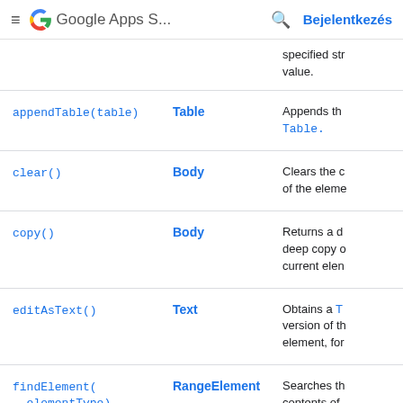≡ Google Apps S... 🔍 Bejelentkezés
| Method | Return type | Brief description |
| --- | --- | --- |
|  |  | specified str value. |
| appendTable(table) | Table | Appends th Table. |
| clear() | Body | Clears the c of the eleme |
| copy() | Body | Returns a d deep copy o current elen |
| editAsText() | Text | Obtains a T version of th element, for |
| findElement(elementType) | RangeElement | Searches th contents of element for descendant specified t... |